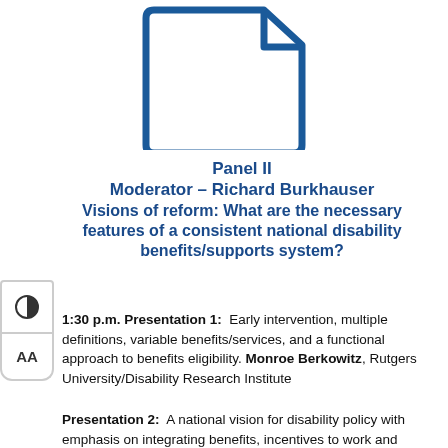[Figure (logo): Blue outline icon of a document/note with folded corner, resembling a stylized file or page icon]
Panel II
Moderator – Richard Burkhauser
Visions of reform: What are the necessary features of a consistent national disability benefits/supports system?
1:30 p.m. Presentation 1:  Early intervention, multiple definitions, variable benefits/services, and a functional approach to benefits eligibility. Monroe Berkowitz, Rutgers University/Disability Research Institute
Presentation 2:  A national vision for disability policy with emphasis on integrating benefits, incentives to work and removal of barriers to work. Bruce Growick, Ohio State